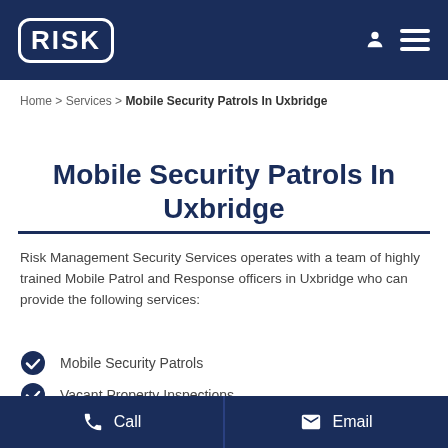RISK [logo header with navigation icons]
Home > Services > Mobile Security Patrols In Uxbridge
Mobile Security Patrols In Uxbridge
Risk Management Security Services operates with a team of highly trained Mobile Patrol and Response officers in Uxbridge who can provide the following services:
Mobile Security Patrols
Vacant Property Inspections
Building Inspections
Call | Email